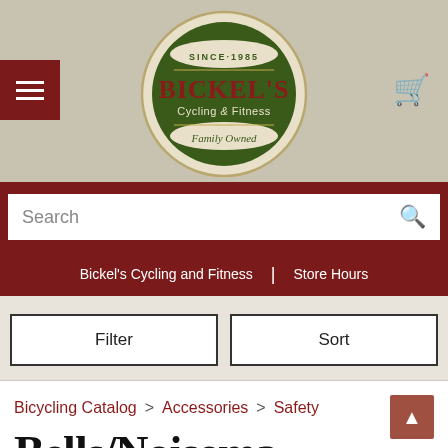[Figure (logo): Bickel's Cycling and Fitness circular logo with green background, 'SINCE 1985' at top, 'BICKEL'S' in large red letters, 'Cycling & Fitness' below, 'Family Owned' in script at bottom, cream border]
Search
Bickel's Cycling and Fitness | Store Hours
Filter
Sort
Bicycling Catalog > Accessories > Safety
Bells/Noisemakers